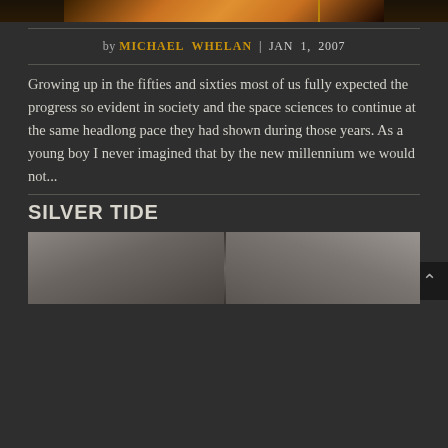[Figure (photo): Top portion of an image with warm golden-orange tones, partially visible]
by MICHAEL WHELAN | JAN 1, 2007
Growing up in the fifties and sixties most of us fully expected the progress so evident in society and the space sciences to continue at the same headlong pace they had shown during those years. As a young boy I never imagined that by the new millennium we would not...
SILVER TIDE
[Figure (photo): Bottom portion of an image showing a silvery-grey textured surface split in two panels with a crack or seam in the middle]